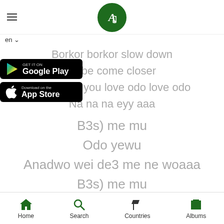[Figure (logo): Green circular logo with letter A and music note]
en
[Figure (screenshot): Google Play store download button]
[Figure (screenshot): Apple App Store download button]
Borkor borkor slow down
Babe come closer
I go show you love odo love odo
Na na na eyy aaa
B3s) me mu
Odo yewu
Anadwo wei de3 me ne woaaa
B3s) me mu
Odo yewu
Anadwo wei de3 me ne woaaa
Home  Search  Countries  Albums